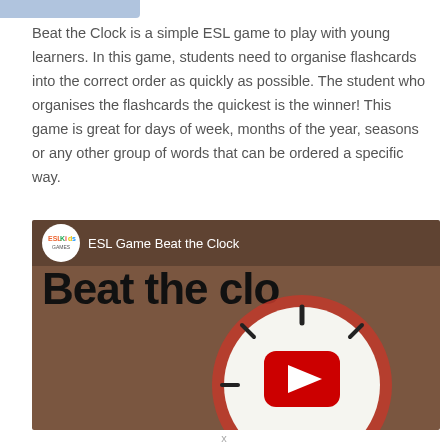Beat the Clock is a simple ESL game to play with young learners. In this game, students need to organise flashcards into the correct order as quickly as possible. The student who organises the flashcards the quickest is the winner! This game is great for days of week, months of the year, seasons or any other group of words that can be ordered a specific way.
[Figure (screenshot): YouTube video thumbnail for 'ESL Game Beat the Clock' showing an ESL Kids Games logo, the title text 'ESL Game Beat the Clock', large bold text 'Beat the clo...' (truncated), and a clock illustration with a YouTube play button overlay on a brown background.]